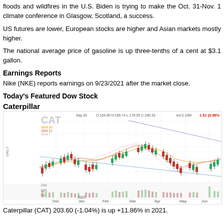floods and wildfires in the U.S. Biden is trying to make the Oct. 31-Nov. 1 climate conference in Glasgow, Scotland, a success.
US futures are lower, European stocks are higher and Asian markets mostly higher.
The national average price of gasoline is up three-tenths of a cent at $3.1 gallon.
Earnings Reports
Nike (NKE) reports earnings on 9/23/2021 after the market close.
Today's Featured Dow Stock
Caterpillar
[Figure (continuous-plot): CAT (Caterpillar) daily stock candlestick chart from Dec 2021 to Aug 2022. Shows SMA 50, SMA 21, SMA 7 moving averages. Price info: Sep 02, O:104.05, H:185.74, L:179.05, C:180.33, Vol:2.10M. Change: 1.61 (0.88%). Two trend lines visible - a declining resistance line from May high and a rising support line from June low. Volume bars at bottom showing 15M, 10M, 5M levels. X-axis labels: Dec, Jan 2022, Feb, Mar, Apr, May, Jun, Jul, Aug.]
Caterpillar (CAT) 203.60 (-1.04%) is up +11.86% in 2021.